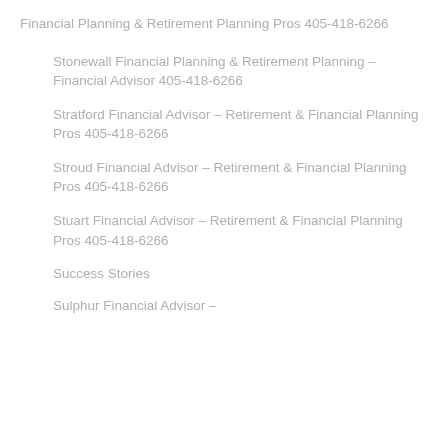Financial Planning & Retirement Planning Pros 405-418-6266
Stonewall Financial Planning & Retirement Planning – Financial Advisor 405-418-6266
Stratford Financial Advisor – Retirement & Financial Planning Pros 405-418-6266
Stroud Financial Advisor – Retirement & Financial Planning Pros 405-418-6266
Stuart Financial Advisor – Retirement & Financial Planning Pros 405-418-6266
Success Stories
Sulphur Financial Advisor –